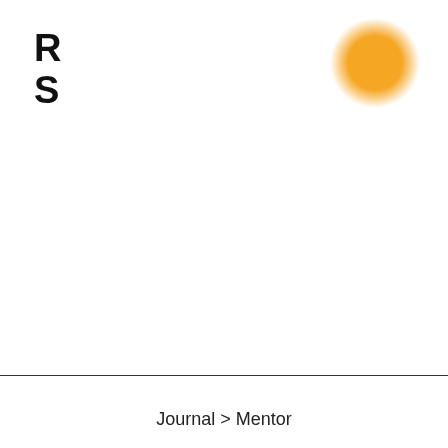R
S
[Figure (illustration): An orange circle (sun-like) positioned in the upper right area of the page, with a slight radial glow effect blending into white at edges.]
Journal > Mentor